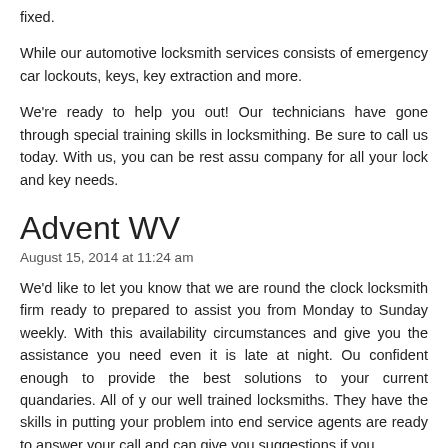fixed.
While our automotive locksmith services consists of emergency car lockouts, keys, key extraction and more.
We're ready to help you out! Our technicians have gone through special training skills in locksmithing. Be sure to call us today. With us, you can be rest assu company for all your lock and key needs.
Advent WV
August 15, 2014 at 11:24 am
We'd like to let you know that we are round the clock locksmith firm ready to prepared to assist you from Monday to Sunday weekly. With this availability circumstances and give you the assistance you need even it is late at night. Ou confident enough to provide the best solutions to your current quandaries. All of y our well trained locksmiths. They have the skills in putting your problem into end service agents are ready to answer your call and can give you suggestions if you
Our services have three divisions: the commercial, residential and automotive satisfying services. Absolutely free of extra charges for all services done at immediately provide the services you need quick and efficient.
Do not hesitate to contact us every time you are into lock or key troubles. We ca